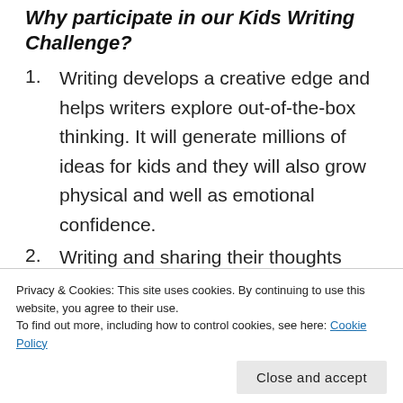Why participate in our Kids Writing Challenge?
Writing develops a creative edge and helps writers explore out-of-the-box thinking. It will generate millions of ideas for kids and they will also grow physical and well as emotional confidence.
Writing and sharing their thoughts with the world will be a new high for the children.
Privacy & Cookies: This site uses cookies. By continuing to use this website, you agree to their use.
To find out more, including how to control cookies, see here: Cookie Policy